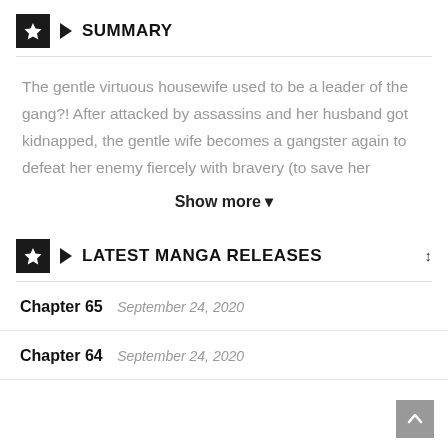SUMMARY
The gentle virtuous housewife used to be a leader of the gang?! After attacked by assassins and her husband got kidnapped, the gentle wife becomes a gangster again to defeat her enemy fiercely with bravery (to save her
Show more ▾
LATEST MANGA RELEASES
Chapter 65   September 24, 2020
Chapter 64   September 24, 2020